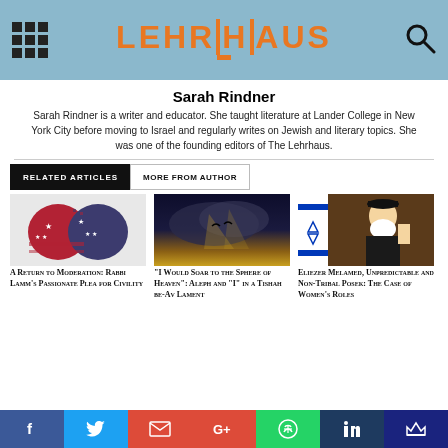LEHRHAUS
Sarah Rindner
Sarah Rindner is a writer and educator. She taught literature at Lander College in New York City before moving to Israel and regularly writes on Jewish and literary topics. She was one of the founding editors of The Lehrhaus.
RELATED ARTICLES | MORE FROM AUTHOR
[Figure (photo): Two American flag heart shapes facing each other, shattering apart, illustration]
A Return to Moderation: Rabbi Lamm's Passionate Plea for Civility
[Figure (photo): Dark dramatic sky with clouds and light rays, silhouette of birds]
"I Would Soar to the Sphere of Heaven": Aleph and "I" in a Tishah be-Av Lament
[Figure (photo): Rabbi Eliezer Melamed speaking at a podium with Israeli flags in background]
Eliezer Melamed, Unpredictable and Non-Tribal Posek: The Case of Women's Roles
Facebook Twitter Gmail Google+ WhatsApp LinkedIn Crown